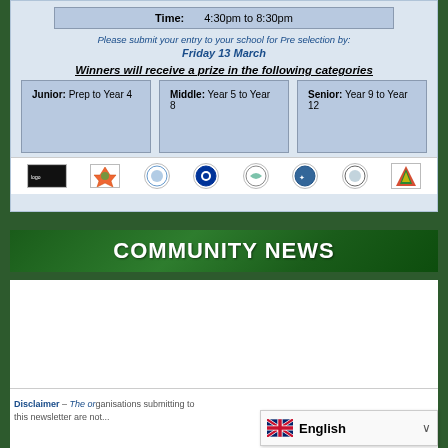| Time: | 4:30pm to 8:30pm |
| --- | --- |
Please submit your entry to your school for Pre selection by:
Friday 13 March
Winners will receive a prize in the following categories
Junior: Prep to Year 4
Middle: Year 5 to Year 8
Senior: Year 9 to Year 12
[Figure (logo): Row of sponsor/school logos]
[Figure (infographic): COMMUNITY NEWS green banner]
Disclaimer – The organisations submitting to this newsletter are not...
[Figure (screenshot): English language selector overlay with UK flag]